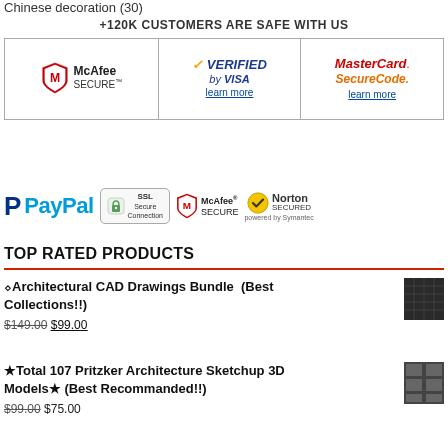Chinese decoration (30)
+120K CUSTOMERS ARE SAFE WITH US
[Figure (infographic): Security badges table with three columns: McAfee Secure logo, Verified by VISA logo with learn more link, MasterCard SecureCode logo with learn more link]
[Figure (infographic): Payment badges: PayPal logo, SSL Secure Connection badge, McAfee Secure badge, Norton Secured powered by Symantec badge]
TOP RATED PRODUCTS
↯Architectural CAD Drawings Bundle  (Best Collections!!)
$149.00  $99.00
★Total 107 Pritzker Architecture Sketchup 3D Models★ (Best Recommanded!!)
$99.00  $75.00